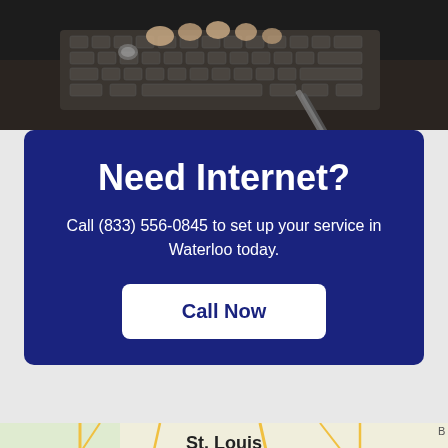[Figure (photo): Person typing on a laptop keyboard, close-up view from above showing hands on keyboard with a pen/stylus nearby on a dark desk]
Need Internet?
Call (833) 556-0845 to set up your service in Waterloo today.
Call Now
[Figure (map): Partial street map showing St. Louis area with O'Fallon label visible, yellow road lines on light green/tan background]